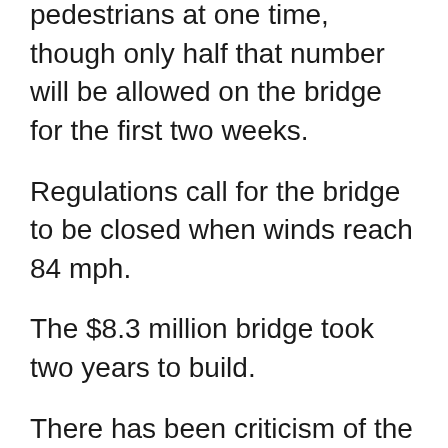The bridge is built to hold 500 pedestrians at one time, though only half that number will be allowed on the bridge for the first two weeks.
Regulations call for the bridge to be closed when winds reach 84 mph.
The $8.3 million bridge took two years to build.
There has been criticism of the bridge from some who say it is too large for the surrounding environment, to others who say it will attract too many tourists to a town of fewer than 500.